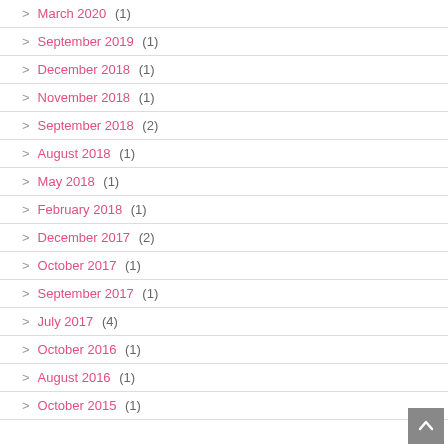March 2020 (1)
September 2019 (1)
December 2018 (1)
November 2018 (1)
September 2018 (2)
August 2018 (1)
May 2018 (1)
February 2018 (1)
December 2017 (2)
October 2017 (1)
September 2017 (1)
July 2017 (4)
October 2016 (1)
August 2016 (1)
October 2015 (1)